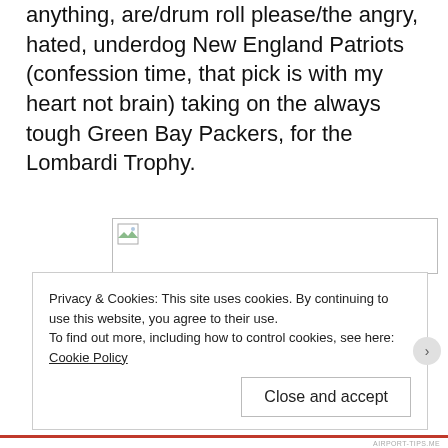anything, are/drum roll please/the angry, hated, underdog New England Patriots (confession time, that pick is with my heart not brain) taking on the always tough Green Bay Packers, for the Lombardi Trophy.
[Figure (photo): Broken image placeholder icon with small landscape thumbnail icon in top-left corner, inside a rectangular bordered box]
Privacy & Cookies: This site uses cookies. By continuing to use this website, you agree to their use.
To find out more, including how to control cookies, see here: Cookie Policy